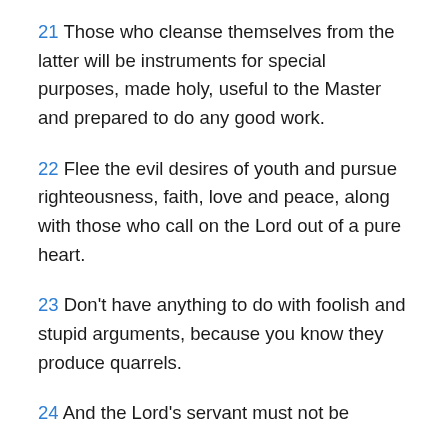21 Those who cleanse themselves from the latter will be instruments for special purposes, made holy, useful to the Master and prepared to do any good work.
22 Flee the evil desires of youth and pursue righteousness, faith, love and peace, along with those who call on the Lord out of a pure heart.
23 Don’t have anything to do with foolish and stupid arguments, because you know they produce quarrels.
24 And the Lord’s servant must not be